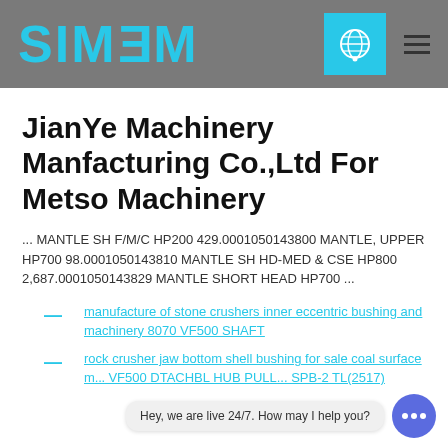[Figure (logo): SIMEM logo in cyan/blue text on gray header bar with globe icon and hamburger menu]
JianYe Machinery Manfacturing Co.,Ltd For Metso Machinery
... MANTLE SH F/M/C HP200 429.0001050143800 MANTLE, UPPER HP700 98.0001050143810 MANTLE SH HD-MED & CSE HP800 2,687.0001050143829 MANTLE SHORT HEAD HP700 ...
manufacture of stone crushers inner eccentric bushing and machinery 8070 VF500 SHAFT
rock crusher jaw bottom shell bushing for sale coal surface m... VF500 DTACHBL HUB PULL... SPB-2 TL(2517)